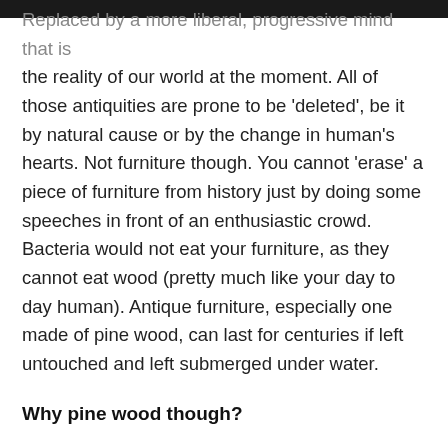Replaced by a more liberal, progressive mind that is the reality of our world at the moment. All of those antiquities are prone to be 'deleted', be it by natural cause or by the change in human's hearts. Not furniture though. You cannot 'erase' a piece of furniture from history just by doing some speeches in front of an enthusiastic crowd. Bacteria would not eat your furniture, as they cannot eat wood (pretty much like your day to day human). Antique furniture, especially one made of pine wood, can last for centuries if left untouched and left submerged under water.
Why pine wood though?
Have you ever seen a pine tree? If you have, surely you will know how tall and how long lasting they can be. Imagine if you cut that pine tree down and